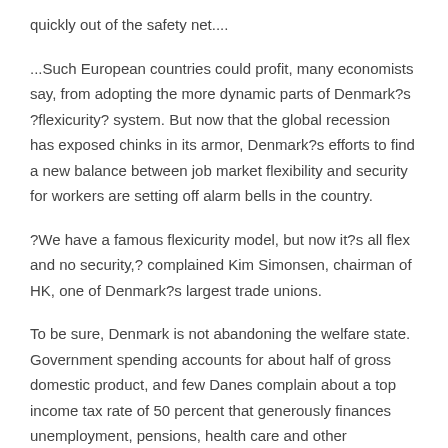quickly out of the safety net....
...Such European countries could profit, many economists say, from adopting the more dynamic parts of Denmark?s ?flexicurity? system. But now that the global recession has exposed chinks in its armor, Denmark?s efforts to find a new balance between job market flexibility and security for workers are setting off alarm bells in the country.
?We have a famous flexicurity model, but now it?s all flex and no security,? complained Kim Simonsen, chairman of HK, one of Denmark?s largest trade unions.
To be sure, Denmark is not abandoning the welfare state. Government spending accounts for about half of gross domestic product, and few Danes complain about a top income tax rate of 50 percent that generously finances unemployment, pensions, health care and other accoutrements that, studies claim, make Danes the